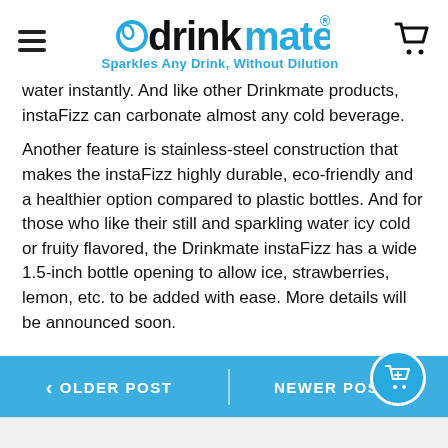[Figure (logo): Drinkmate logo with hamburger menu icon on left and shopping cart on right. Logo shows 'drinkmate' with a circular 'o' icon and registered trademark symbol. Tagline: 'Sparkles Any Drink, Without Dilution' in blue.]
water instantly. And like other Drinkmate products, instaFizz can carbonate almost any cold beverage.
Another feature is stainless-steel construction that makes the instaFizz highly durable, eco-friendly and a healthier option compared to plastic bottles. And for those who like their still and sparkling water icy cold or fruity flavored, the Drinkmate instaFizz has a wide 1.5-inch bottle opening to allow ice, strawberries, lemon, etc. to be added with ease. More details will be announced soon.
< OLDER POST | NEWER POST >